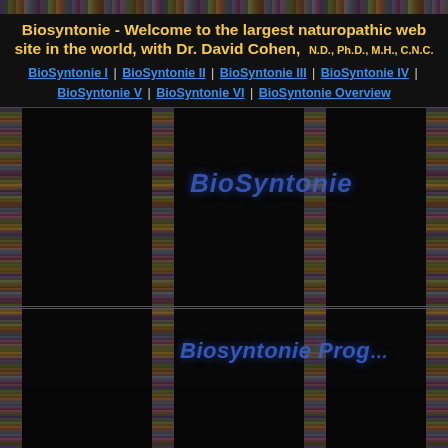Biosyntonie - Welcome to the largest naturopathic web site in the world, with Dr. David Cohen, N.D., Ph.D., M.H., C.N.C.
BioSyntonie I | BioSyntonie II | BioSyntonie III | BioSyntonie IV | BioSyntonie V | BioSyntonie VI | BioSyntonie Overview
[Figure (screenshot): Dark webpage screenshot showing decorative vertical floral strips/columns against a black background with overlaid blue italic text reading 'BioSyntonie' and 'BioSyntonie Prog' and partial text about principles of the mechanics and Oz-blood-lymph]
principles of the mechanics of the a
The core of Oz-blood-lymph: Work on our three fountai